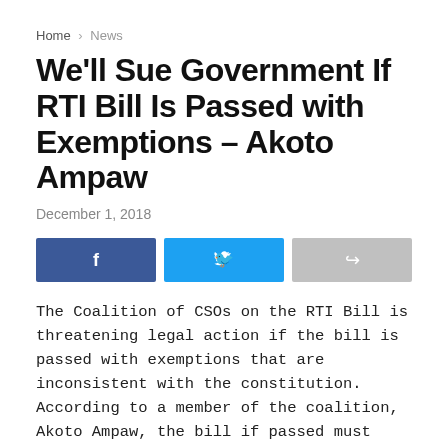Home > News
We'll Sue Government If RTI Bill Is Passed with Exemptions – Akoto Ampaw
December 1, 2018
[Figure (other): Social share buttons: Facebook, Twitter, and a generic share button]
The Coalition of CSOs on the RTI Bill is threatening legal action if the bill is passed with exemptions that are inconsistent with the constitution. According to a member of the coalition, Akoto Ampaw, the bill if passed must reflect the reality that indeed leaders in a democratic state are servants of